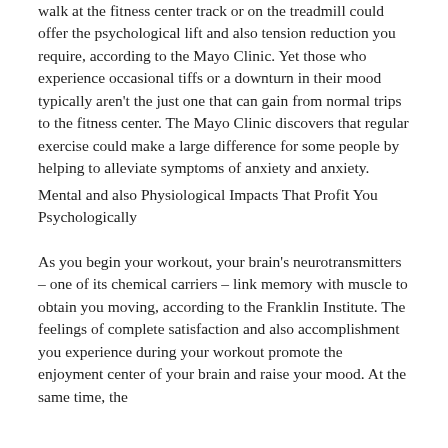walk at the fitness center track or on the treadmill could offer the psychological lift and also tension reduction you require, according to the Mayo Clinic. Yet those who experience occasional tiffs or a downturn in their mood typically aren't the just one that can gain from normal trips to the fitness center. The Mayo Clinic discovers that regular exercise could make a large difference for some people by helping to alleviate symptoms of anxiety and anxiety.
Mental and also Physiological Impacts That Profit You Psychologically
As you begin your workout, your brain's neurotransmitters – one of its chemical carriers – link memory with muscle to obtain you moving, according to the Franklin Institute. The feelings of complete satisfaction and also accomplishment you experience during your workout promote the enjoyment center of your brain and raise your mood. At the same time, the